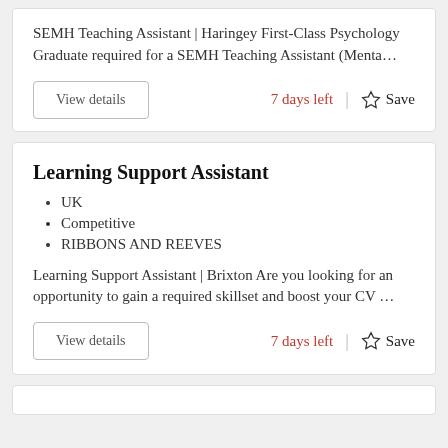SEMH Teaching Assistant | Haringey First-Class Psychology Graduate required for a SEMH Teaching Assistant (Menta…
7 days left
Save
Learning Support Assistant
UK
Competitive
RIBBONS AND REEVES
Learning Support Assistant | Brixton Are you looking for an opportunity to gain a required skillset and boost your CV …
7 days left
Save